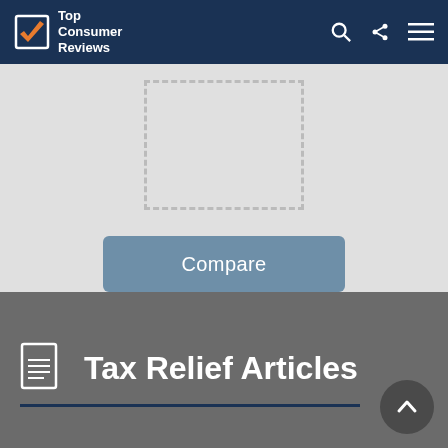Top Consumer Reviews
[Figure (screenshot): Dashed rectangle placeholder box on light gray background, with a blue-gray Compare button below]
Tax Relief Articles